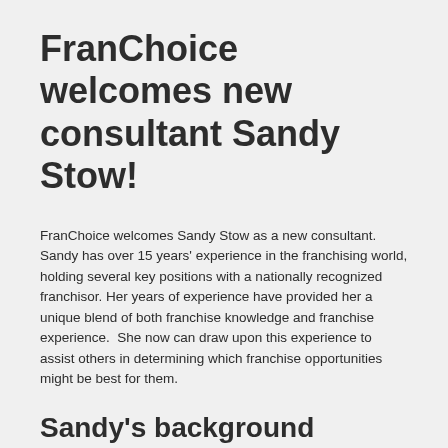FranChoice welcomes new consultant Sandy Stow!
FranChoice welcomes Sandy Stow as a new consultant. Sandy has over 15 years' experience in the franchising world, holding several key positions with a nationally recognized franchisor. Her years of experience have provided her a unique blend of both franchise knowledge and franchise experience.  She now can draw upon this experience to assist others in determining which franchise opportunities might be best for them.
Sandy's background
Sandy's career began in franchise sales in September 2001, and she quickly became one of the top re...